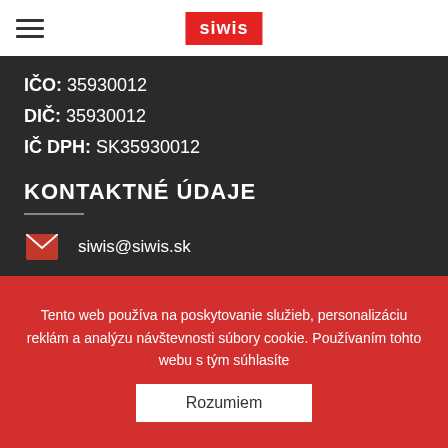SIWIS
IČO: 35930012
DIČ: 35930012
IČ DPH: SK35930012
KONTAKTNÉ ÚDAJE
siwis@siwis.sk
+421 903 751 083
+421 905 402 038
Tento web používa na poskytovanie služieb, personalizáciu reklám a analýzu návštevnosti súbory cookie. Používaním tohto webu s tým súhlasíte
Rozumiem